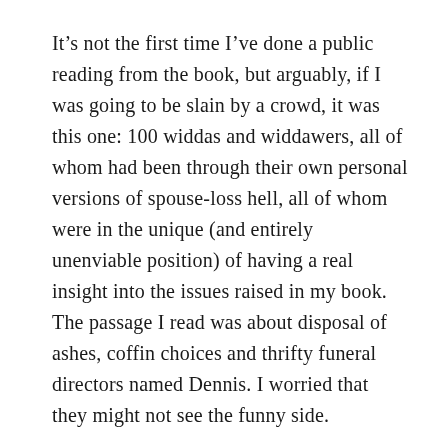It’s not the first time I’ve done a public reading from the book, but arguably, if I was going to be slain by a crowd, it was this one: 100 widdas and widdawers, all of whom had been through their own personal versions of spouse-loss hell, all of whom were in the unique (and entirely unenviable position) of having a real insight into the issues raised in my book. The passage I read was about disposal of ashes, coffin choices and thrifty funeral directors named Dennis. I worried that they might not see the funny side.
(Fortunately, they did. In fact, for a bunch of bereaveds, we spent an indecent amount of time belly-laughing.)